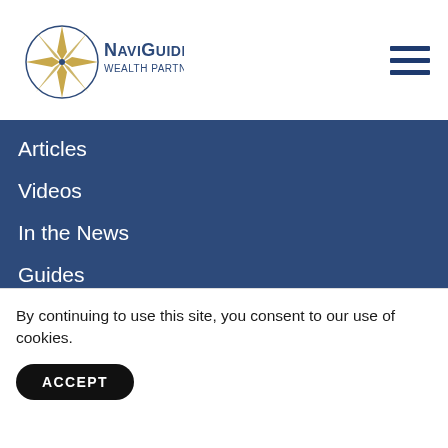[Figure (logo): NaviGuide Wealth Partners, Inc. logo with compass rose graphic and dark blue text]
Articles
Videos
In the News
Guides
Glossary
By continuing to use this site, you consent to our use of cookies.
ACCEPT